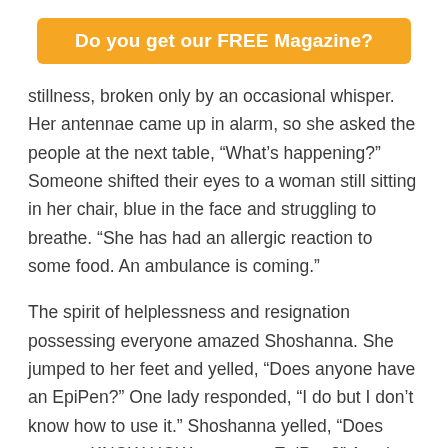Do you get our FREE Magazine?
stillness, broken only by an occasional whisper. Her antennae came up in alarm, so she asked the people at the next table, “What’s happening?” Someone shifted their eyes to a woman still sitting in her chair, blue in the face and struggling to breathe. “She has had an allergic reaction to some food. An ambulance is coming.”
The spirit of helplessness and resignation possessing everyone amazed Shoshanna. She jumped to her feet and yelled, “Does anyone have an EpiPen?” One lady responded, “I do but I don’t know how to use it.” Shoshanna yelled, “Does anyone KNOW HOW to use an EpiPen?” Another polite soul said, “I do.” By the